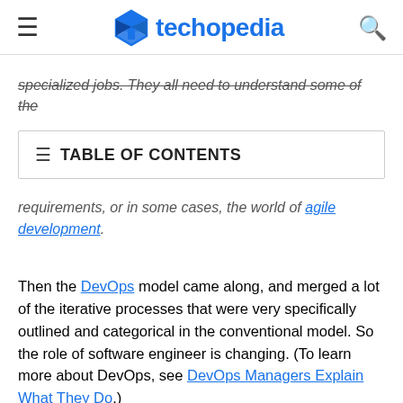techopedia
specialized jobs. They all need to understand some of the [truncated]
| TABLE OF CONTENTS |
| --- |
requirements, or in some cases, the world of agile development.
Then the DevOps model came along, and merged a lot of the iterative processes that were very specifically outlined and categorical in the conventional model. So the role of software engineer is changing. (To learn more about DevOps, see DevOps Managers Explain What They Do.)
This gives you a little to go on when you set out to learn more about the work of these central professionals in